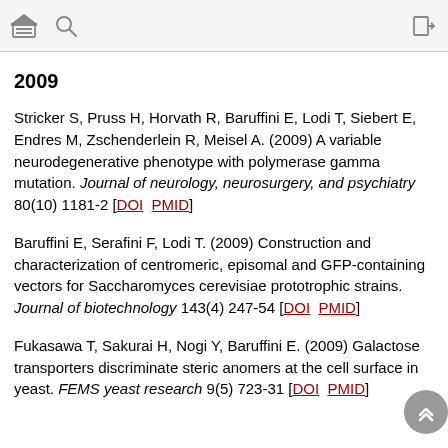Toolbar with home and search icons
2009
Stricker S, Pruss H, Horvath R, Baruffini E, Lodi T, Siebert E, Endres M, Zschenderlein R, Meisel A. (2009) A variable neurodegenerative phenotype with polymerase gamma mutation. Journal of neurology, neurosurgery, and psychiatry 80(10) 1181-2 [DOI  PMID]
Baruffini E, Serafini F, Lodi T. (2009) Construction and characterization of centromeric, episomal and GFP-containing vectors for Saccharomyces cerevisiae prototrophic strains. Journal of biotechnology 143(4) 247-54 [DOI  PMID]
Fukasawa T, Sakurai H, Nogi Y, Baruffini E. (2009) Galactose transporters discriminate steric anomers at the cell surface in yeast. FEMS yeast research 9(5) 723-31 [DOI  PMID]